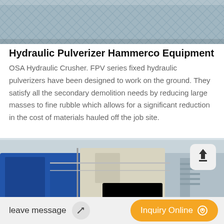[Figure (photo): Top photo showing industrial mesh or grating surface, gray tones]
Hydraulic Pulverizer Hammerco Equipment
OSA Hydraulic Crusher. FPV series fixed hydraulic pulverizers have been designed to work on the ground. They satisfy all the secondary demolition needs by reducing large masses to fine rubble which allows for a significant reduction in the cost of materials hauled off the job site.
[Figure (photo): Industrial hydraulic pulverizer/crusher machine in a factory setting, with blue and white/cream colored equipment, metal railings and stairs visible]
leave message   Inquiry Online